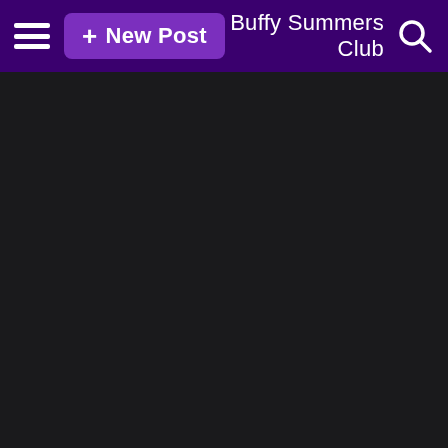≡  + New Post    Buffy Summers Club  🔍
[Figure (screenshot): Dark background content area below the navigation bar, entirely empty/black.]